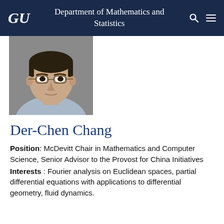GU  Department of Mathematics and Statistics
[Figure (photo): Headshot photograph of Der-Chen Chang, a middle-aged man wearing glasses and a light blue collared shirt, against a grey background.]
Der-Chen Chang
Position: McDevitt Chair in Mathematics and Computer Science, Senior Advisor to the Provost for China Initiatives
Interests : Fourier analysis on Euclidean spaces, partial differential equations with applications to differential geometry, fluid dynamics.